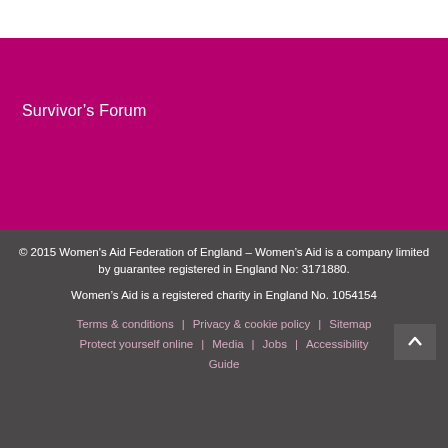Survivor’s Forum
© 2015 Women's Aid Federation of England – Women’s Aid is a company limited by guarantee registered in England No: 3171880.

Women’s Aid is a registered charity in England No. 1054154

Terms & conditions | Privacy & cookie policy | Sitemap | Protect yourself online | Media | Jobs | Accessibility Guide